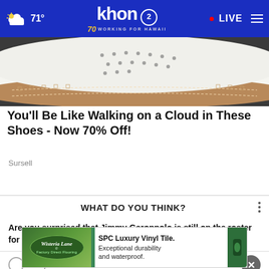71° khon2 WORKING FOR HAWAII LIVE
[Figure (photo): Close-up photo of a white leather shoe sole with cork and stitching detail on dark pavement]
You'll Be Like Walking on a Cloud in These Shoes - Now 70% Off!
Sursell
WHAT DO YOU THINK?
Are you surprised that Jimmy Garoppolo is still on the roster for the 49ers?
Yes, I am
[Figure (advertisement): Wisteria Lane SPC Luxury Vinyl Tile advertisement banner - Exceptional durability and waterproof]